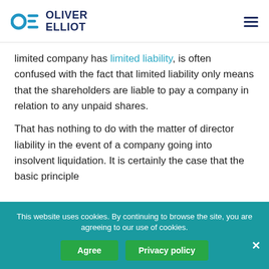Oliver Elliot
limited company has limited liability, is often confused with the fact that limited liability only means that the shareholders are liable to pay a company in relation to any unpaid shares.
That has nothing to do with the matter of director liability in the event of a company going into insolvent liquidation. It is certainly the case that the basic principle
This website uses cookies. By continuing to browse the site, you are agreeing to our use of cookies.